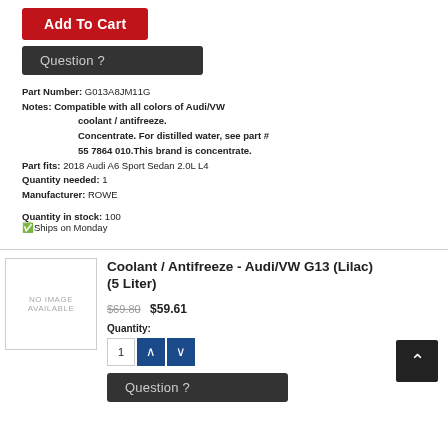Add To Cart
Question ?
Part Number: G013A8JM11G
Notes: Compatible with all colors of Audi/VW coolant / antifreeze. Concentrate. For distilled water, see part # 55 7864 010.This brand is concentrate.
Part fits: 2018 Audi A6 Sport Sedan 2.0L L4
Quantity needed: 1
Manufacturer: ROWE
Quantity in stock: 100
✓Ships on Monday
Coolant / Antifreeze - Audi/VW G13 (Lilac) (5 Liter)
$69.80 $59.61
Quantity: 1
Question ?